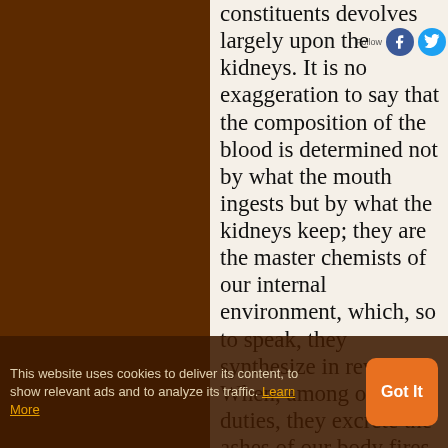constituents devolves largely upon the kidneys. It is no exaggeration to say that the composition of the blood is determined not by what the mouth ingests but by what the kidneys keep; they are the master chemists of our internal environment, which, so to speak, they synthesize in reverse. When, among other duties, they excrete the ashes of our body fires, or remove from the blood the infinite variety of foreign substances
This website uses cookies to deliver its content, to show relevant ads and to analyze its traffic. Learn More